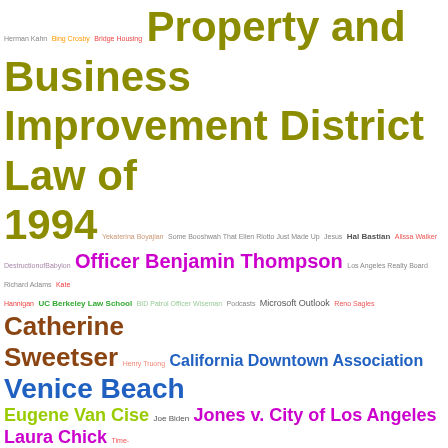[Figure (infographic): Word cloud / tag cloud containing legal, civic, and California-related terms in various colors and font sizes. Prominent terms include 'Property and Business Improvement District Law of 1994', 'Officer Benjamin Thompson', 'Catherine Sweetser', 'California Downtown Association', 'Venice Beach', 'Eugene Van Cise', 'Jones v. City of Los Angeles', 'Laura Chick', 'CARE/CARE+ Teams', 'Gateway to LA BID', 'First Street Federal Courthouse', 'Quarterly Reports', 'Yo! Venice', 'Spring Street', 'Contractor Responsibility Ordinance', 'Corruption', 'Legal Aid Foundation of Los Angeles', 'Burbank', 'Melrose BID', 'Laura McLennan', 'West Adams Neighborhood Council', 'Steve Soboroff', 'South Los Angeles Industrial Tract BID', and many smaller terms.]